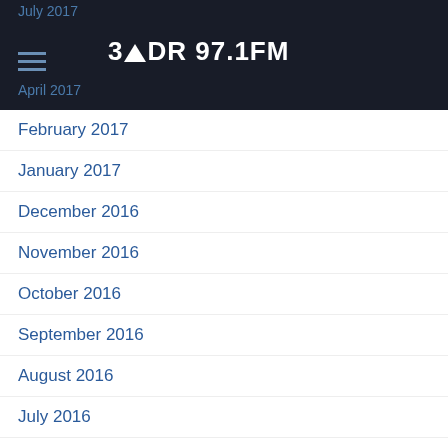3MDR 97.1FM
April 2017
March 2017
February 2017
January 2017
December 2016
November 2016
October 2016
September 2016
August 2016
July 2016
June 2016
May 2016
April 2016
March 2016
February 2016
January 2016
December 2015